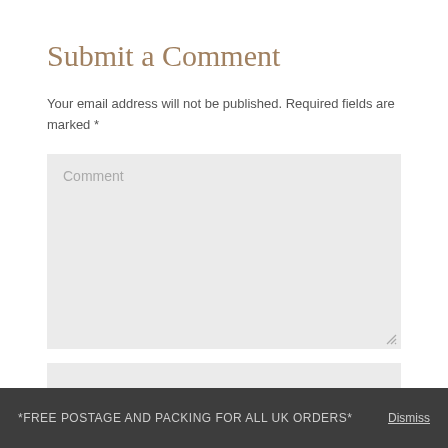Submit a Comment
Your email address will not be published. Required fields are marked *
[Figure (screenshot): Comment text area input field with placeholder text 'Comment' and a resize handle in the bottom right corner]
[Figure (screenshot): Name input field with placeholder text 'Name *']
*FREE POSTAGE AND PACKING FOR ALL UK ORDERS* Dismiss